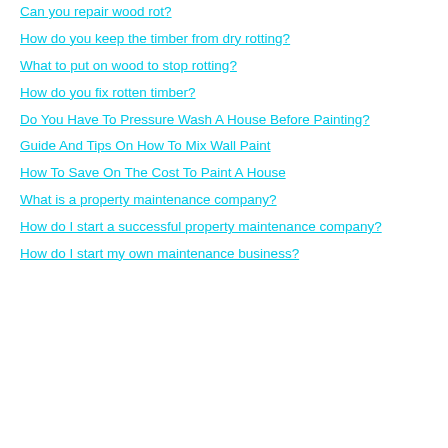Can you repair wood rot?
How do you keep the timber from dry rotting?
What to put on wood to stop rotting?
How do you fix rotten timber?
Do You Have To Pressure Wash A House Before Painting?
Guide And Tips On How To Mix Wall Paint
How To Save On The Cost To Paint A House
What is a property maintenance company?
How do I start a successful property maintenance company?
How do I start my own maintenance business?